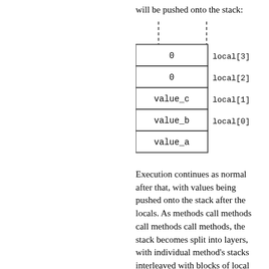will be pushed onto the stack:
[Figure (schematic): Stack diagram showing memory layout with rows: value_a (bottom, no label), value_b local[0], value_c local[1], 0 local[2], 0 local[3] (top). Dashed lines extend upward from the top two rows.]
Execution continues as normal after that, with values being pushed onto the stack after the locals. As methods call methods call methods call methods, the stack becomes split into layers, with individual method's stacks interleaved with blocks of local variables. When a method returns, everything